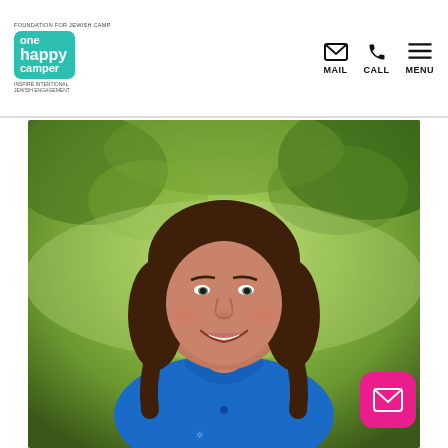One Happy Camper — navigation header with logo, MAIL, CALL, MENU icons
[Figure (photo): Portrait photo of a smiling woman with medium-length brown hair and bangs, wearing a blue polo shirt, photographed outdoors with a blurred green background. A pink floating email button appears in the bottom-right corner of the image.]